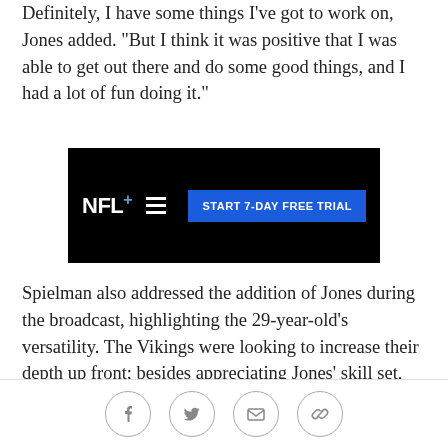Definitely, I have some things I've got to work on, Jones added. "But I think it was positive that I was able to get out there and do some good things, and I had a lot of fun doing it."
[Figure (screenshot): NFL+ advertisement banner with Minnesota Vikings logo and 'START 7-DAY FREE TRIAL' button on black background]
Spielman also addressed the addition of Jones during the broadcast, highlighting the 29-year-old's versatility. The Vikings were looking to increase their depth up front; besides appreciating Jones' skill set, Spielman liked that he was learning in New York under Giants Head Coach Pat Shurmur, who served as Minnesota's offensive coordinator in 2017.
"You know, we'll have to make a determination on Pat
Social share icons: Facebook, Twitter, Email, Link